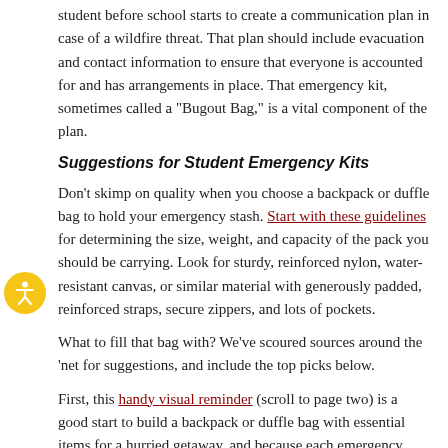student before school starts to create a communication plan in case of a wildfire threat. That plan should include evacuation and contact information to ensure that everyone is accounted for and has arrangements in place. That emergency kit, sometimes called a "Bugout Bag," is a vital component of the plan.
Suggestions for Student Emergency Kits
Don't skimp on quality when you choose a backpack or duffle bag to hold your emergency stash. Start with these guidelines for determining the size, weight, and capacity of the pack you should be carrying. Look for sturdy, reinforced nylon, water-resistant canvas, or similar material with generously padded, reinforced straps, secure zippers, and lots of pockets.
What to fill that bag with? We've scoured sources around the 'net for suggestions, and include the top picks below.
First, this handy visual reminder (scroll to page two) is a good start to build a backpack or duffle bag with essential items for a hurried getaway, and because each emergency